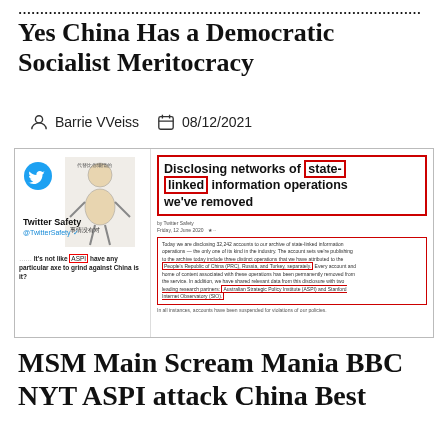Yes China Has a Democratic Socialist Meritocracy
Barrie VVeiss   08/12/2021
[Figure (screenshot): Screenshot of a Twitter Safety post about disclosing networks of state-linked information operations, with red annotation boxes highlighting 'state-linked', 'linked', 'ASPI', and text about People's Republic of China operations and research partners including ASPI and Stanford Internet Observatory. A meme image is shown on the left side with Chinese text.]
MSM Main Scream Mania BBC NYT ASPI attack China Best